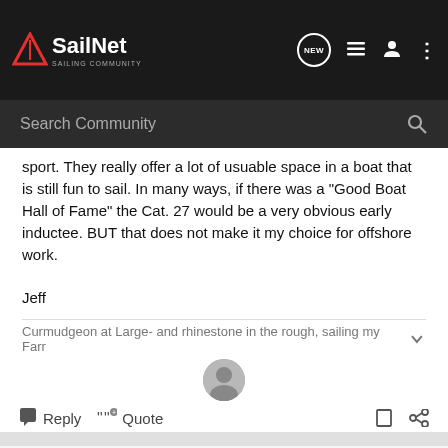SailNet SAILING COMMUNITY
sport. They really offer a lot of usuable space in a boat that is still fun to sail. In many ways, if there was a "Good Boat Hall of Fame" the Cat. 27 would be a very obvious early inductee. BUT that does not make it my choice for offshore work.

Jeff
Curmudgeon at Large- and rhinestone in the rough, sailing my Farr
Reply  Quote
Jeff_H · Super Moderator 🇺🇸
Farr 11.6 (Farr 38)
Joined Feb 22, 2000 · 10,000 P...